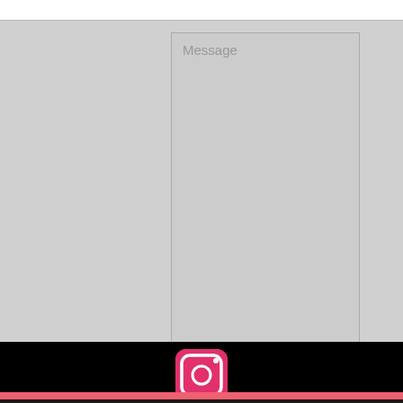[Figure (screenshot): A light grey web form area with a white top bar, a large grey message textarea with placeholder text 'Message', and a coral/red 'Send' button at the bottom right.]
Militaria and non-firing replica guns.
[Figure (logo): Instagram logo icon (white camera outline on hot pink square background) centered in a black footer bar, with a salmon/coral pink stripe below it.]